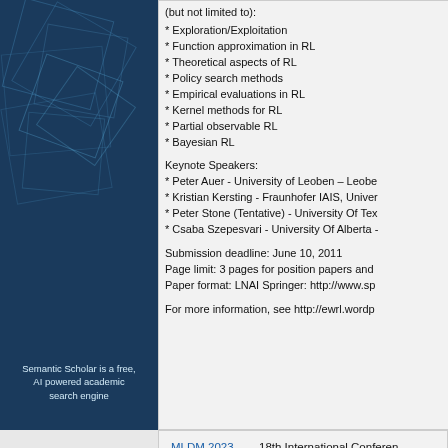[Figure (illustration): Semantic Scholar logo panel: dark blue background with geometric square shapes in lighter blue tones, text reads 'Semantic Scholar is a free, AI powered academic search engine']
* Exploration/Exploitation
* Function approximation in RL
* Theoretical aspects of RL
* Policy search methods
* Empirical evaluations in RL
* Kernel methods for RL
* Partial observable RL
* Bayesian RL
Keynote Speakers:
* Peter Auer - University of Leoben – Leobe
* Kristian Kersting - Fraunhofer IAIS, Univer
* Peter Stone (Tentative) - University Of Tex
* Csaba Szepesvari - University Of Alberta -
Submission deadline: June 10, 2011
Page limit: 3 pages for position papers and
Paper format: LNAI Springer: http://www.sp
For more information, see http://ewrl.wordp
MLDM 2023    18th International Conferen
IJCNN 2023    International Joint Conferen